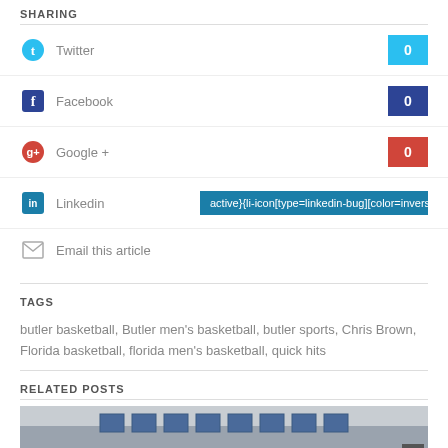SHARING
Twitter 0
Facebook 0
Google + 0
Linkedin active}{li-icon[type=linkedin-bug][color=inverse] .background{fill
Email this article
TAGS
butler basketball, Butler men's basketball, butler sports, Chris Brown, Florida basketball, florida men's basketball, quick hits
RELATED POSTS
[Figure (photo): Black and white photo of a building with large grid windows]